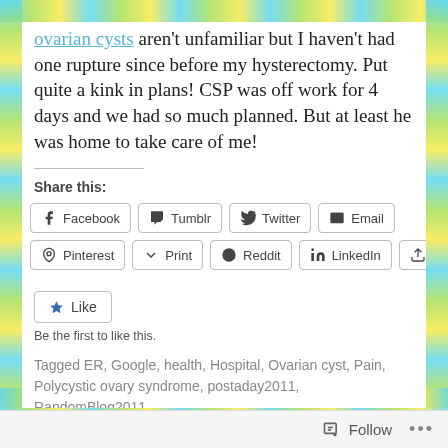ovarian cysts aren't unfamiliar but I haven't had one rupture since before my hysterectomy. Put quite a kink in plans! CSP was off work for 4 days and we had so much planned. But at least he was home to take care of me!
Share this:
Facebook | Tumblr | Twitter | Email | Pinterest | Print | Reddit | LinkedIn | Pocket
Like
Be the first to like this.
Tagged ER, Google, health, Hospital, Ovarian cyst, Pain, Polycystic ovary syndrome, postaday2011, RandomBlog2011
Follow ...